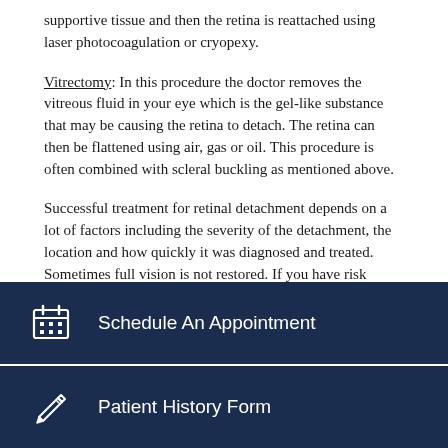supportive tissue and then the retina is reattached using laser photocoagulation or cryopexy.
Vitrectomy: In this procedure the doctor removes the vitreous fluid in your eye which is the gel-like substance that may be causing the retina to detach. The retina can then be flattened using air, gas or oil. This procedure is often combined with scleral buckling as mentioned above.
Successful treatment for retinal detachment depends on a lot of factors including the severity of the detachment, the location and how quickly it was diagnosed and treated. Sometimes full vision is not restored. If you have risk factors for retinal detachment you should make sure that you get frequent eye exams and see your eye doctor immediately if you experience any changes in your vision.
Schedule An Appointment
Patient History Form